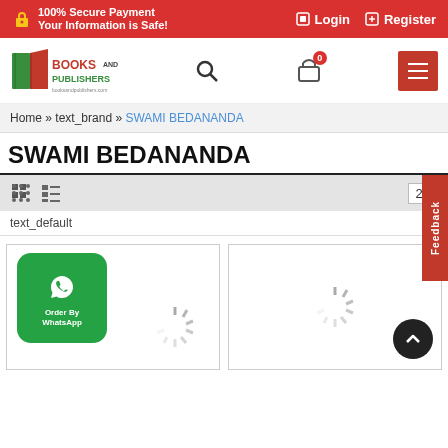100% Secure Payment Your Information is Safe! | Login | Register
[Figure (screenshot): Books and Publishers logo with two books icon]
Home » text_brand » SWAMI BEDANANDA
SWAMI BEDANANDA
[Figure (infographic): View toggle icons (grid and list), per-page selector showing 20, sort dropdown showing text_default, feedback tab on right side]
[Figure (screenshot): Product cards area with loading spinners, WhatsApp Order By WhatsApp button overlay, and back-to-top button]